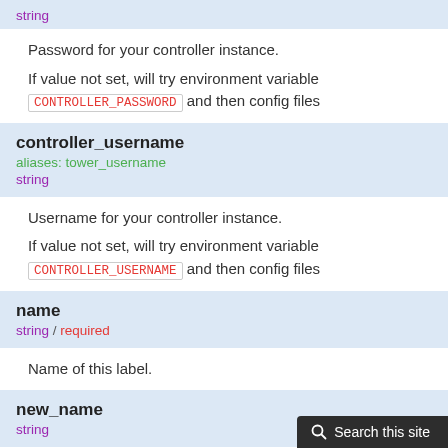string
Password for your controller instance.
If value not set, will try environment variable CONTROLLER_PASSWORD and then config files
controller_username
aliases: tower_username
string
Username for your controller instance.
If value not set, will try environment variable CONTROLLER_USERNAME and then config files
name
string / required
Name of this label.
new_name
string
Setting this option will change the existing name (looked up via the name field).